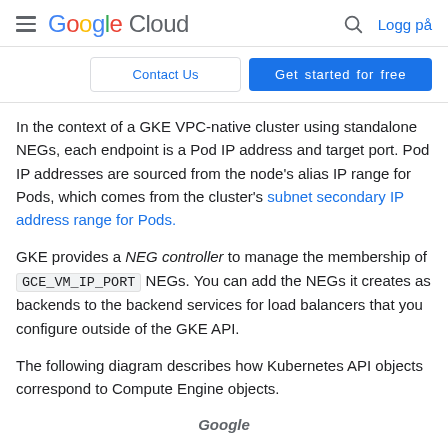Google Cloud  Logg på
Contact Us   Get started for free
In the context of a GKE VPC-native cluster using standalone NEGs, each endpoint is a Pod IP address and target port. Pod IP addresses are sourced from the node's alias IP range for Pods, which comes from the cluster's subnet secondary IP address range for Pods.
GKE provides a NEG controller to manage the membership of GCE_VM_IP_PORT NEGs. You can add the NEGs it creates as backends to the backend services for load balancers that you configure outside of the GKE API.
The following diagram describes how Kubernetes API objects correspond to Compute Engine objects.